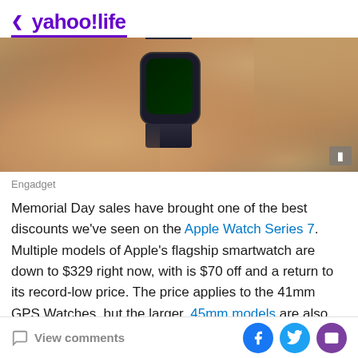< yahoo!life
[Figure (photo): Close-up photo of a hand wearing an Apple Watch Series 7 with dark band, shown against a blurred wrist/hand background. Engadget logo icon visible in bottom right corner.]
Engadget
Memorial Day sales have brought one of the best discounts we've seen on the Apple Watch Series 7. Multiple models of Apple's flagship smartwatch are down to $329 right now, with is $70 off and a return to its record-low price. The price applies to the 41mm GPS Watches, but the larger, 45mm models are also $70 off and down to $359.
View comments